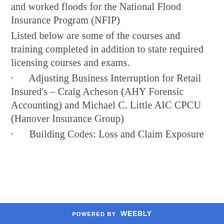and worked floods for the National Flood Insurance Program (NFIP)
Listed below are some of the courses and training completed in addition to state required licensing courses and exams.
· Adjusting Business Interruption for Retail Insured's – Craig Acheson (AHY Forensic Accounting) and Michael C. Little AIC CPCU (Hanover Insurance Group)
· Building Codes: Loss and Claim Exposure
POWERED BY weebly